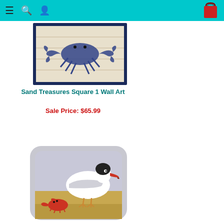Navigation header with menu, search, user icons and shopping bag
[Figure (photo): Framed wall art print showing a blue crab illustration on a cream/wood-plank background, with a dark navy border frame]
Sand Treasures Square 1 Wall Art
Sale Price: $65.99
[Figure (photo): Decorative needlepoint pillow featuring a seagull with a red/orange beak standing on sandy shore with a red crab nearby, on a light gray background]
Seagull Crab Needlepoint Pillow